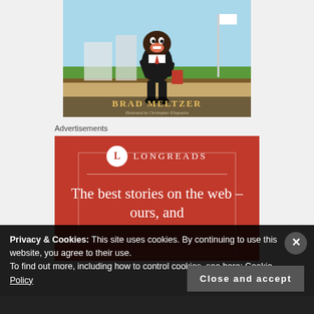[Figure (illustration): Book cover illustration showing a cartoon figure of a Black man in a suit standing on steps with buildings and landscape in background. Author name 'BRAD MELTZER' and illustrator credit 'Illustrated by Christopher Eliopoulos' shown at bottom of cover.]
Advertisements
[Figure (logo): Longreads advertisement banner with red background. Shows Longreads logo (L in circle) and text 'LONGREADS'. Headline reads 'The best stories on the web – ours, and']
Privacy & Cookies: This site uses cookies. By continuing to use this website, you agree to their use.
To find out more, including how to control cookies, see here: Cookie Policy
Close and accept